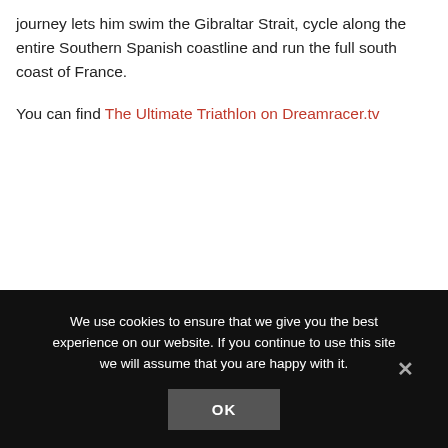journey lets him swim the Gibraltar Strait, cycle along the entire Southern Spanish coastline and run the full south coast of France.
You can find The Ultimate Triathlon on Dreamracer.tv
We use cookies to ensure that we give you the best experience on our website. If you continue to use this site we will assume that you are happy with it.
OK